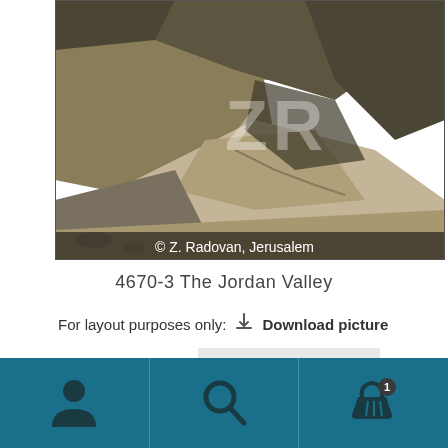[Figure (photo): Aerial landscape photo of the Jordan Valley showing arid hills and ridges with watermark 'ZR' and copyright '© Z. Radovan, Jerusalem']
4670-3 The Jordan Valley
For layout purposes only:  Download picture
Print picture   Add to Selected
[Figure (infographic): Teal/dark blue footer navigation bar with three sections: user/person icon, search/magnifying glass icon, and shopping basket icon with badge showing '1']